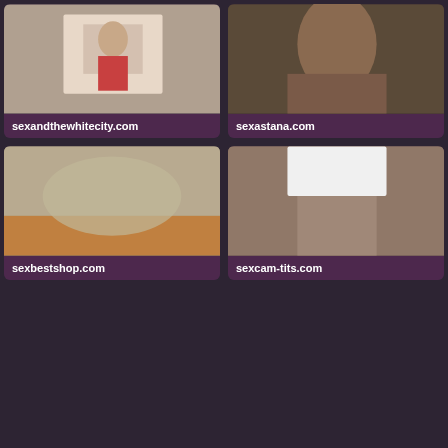[Figure (photo): Thumbnail image for sexandthewhitecity.com]
sexandthewhitecity.com
[Figure (photo): Thumbnail image for sexastana.com]
sexastana.com
[Figure (photo): Thumbnail image for sexbestshop.com]
sexbestshop.com
[Figure (photo): Thumbnail image for sexcam-tits.com]
sexcam-tits.com